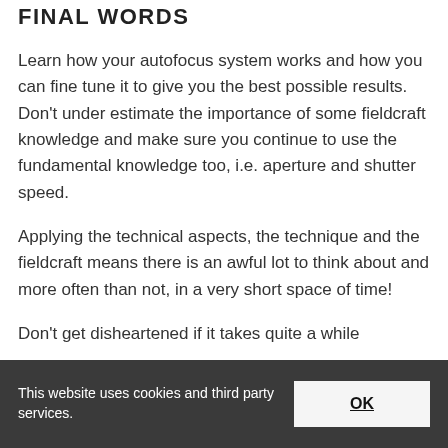FINAL WORDS
Learn how your autofocus system works and how you can fine tune it to give you the best possible results. Don't under estimate the importance of some fieldcraft knowledge and make sure you continue to use the fundamental knowledge too, i.e. aperture and shutter speed.
Applying the technical aspects, the technique and the fieldcraft means there is an awful lot to think about and more often than not, in a very short space of time!
Don't get disheartened if it takes quite a while
This website uses cookies and third party services.